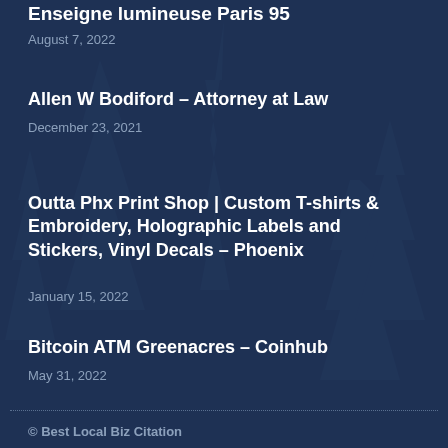Enseigne lumineuse Paris 95
August 7, 2022
Allen W Bodiford – Attorney at Law
December 23, 2021
Outta Phx Print Shop | Custom T-shirts & Embroidery, Holographic Labels and Stickers, Vinyl Decals – Phoenix
January 15, 2022
Bitcoin ATM Greenacres – Coinhub
May 31, 2022
© Best Local Biz Citation